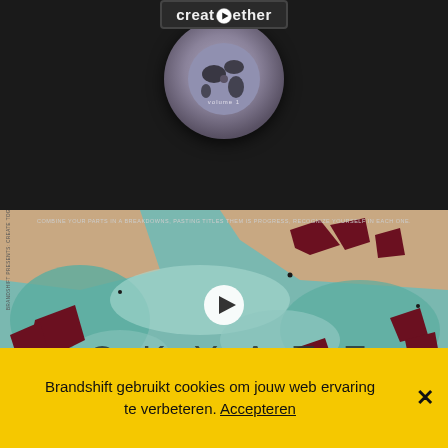[Figure (screenshot): Dark background with a CD/vinyl disc showing 'create together volume 1' label and a globe graphic with a play button icon in the center of the label text]
[Figure (screenshot): Video thumbnail showing 'SKYATE' abstract art with colorful geometric shapes in teal, beige, dark red/maroon colors, with a white play button overlay in the center and small text at the top]
Brandshift gebruikt cookies om jouw web ervaring te verbeteren. Accepteren